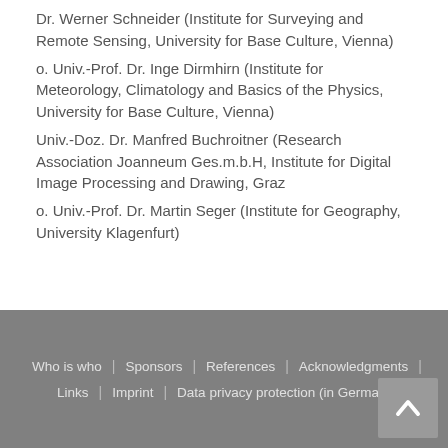Dr. Werner Schneider (Institute for Surveying and Remote Sensing, University for Base Culture, Vienna)
o. Univ.-Prof. Dr. Inge Dirmhirn (Institute for Meteorology, Climatology and Basics of the Physics, University for Base Culture, Vienna)
Univ.-Doz. Dr. Manfred Buchroitner (Research Association Joanneum Ges.m.b.H, Institute for Digital Image Processing and Drawing, Graz
o. Univ.-Prof. Dr. Martin Seger (Institute for Geography, University Klagenfurt)
Who is who | Sponsors | References | Acknowledgments | Links | Imprint | Data privacy protection (in German)